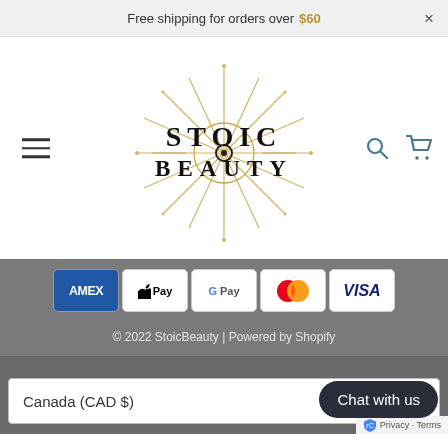Free shipping for orders over $60  ×
[Figure (logo): Stoic Beauty logo with sunburst/eye design in gold, text STOIC BEAUTY in black serif font]
[Figure (infographic): Payment method icons: American Express, Apple Pay, Google Pay, Mastercard, Visa]
© 2022 StoicBeauty | Powered by Shopify
Canada (CAD $)
Chat with us